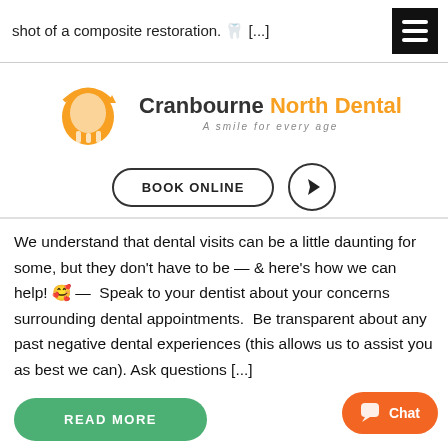shot of a composite restoration. 🦷 [...]
[Figure (logo): Cranbourne North Dental logo — orange tooth with arrow, text 'Cranbourne North Dental' and tagline 'A smile for every age'. Below: BOOK ONLINE button and location arrow button.]
We understand that dental visits can be a little daunting for some, but they don't have to be — & here's how we can help! 🥰 —  Speak to your dentist about your concerns surrounding dental appointments.  Be transparent about any past negative dental experiences (this allows us to assist you as best we can). Ask questions [...]
READ MORE
Chat